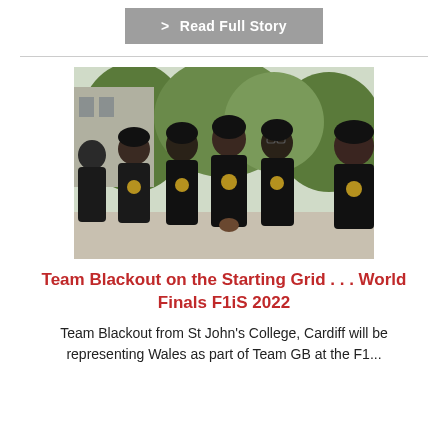> Read Full Story
[Figure (photo): Group photo of Team Blackout students wearing black polo shirts with gold logo, standing outdoors with trees in the background.]
Team Blackout on the Starting Grid . . . World Finals F1iS 2022
Team Blackout from St John's College, Cardiff will be representing Wales as part of Team GB at the F1...